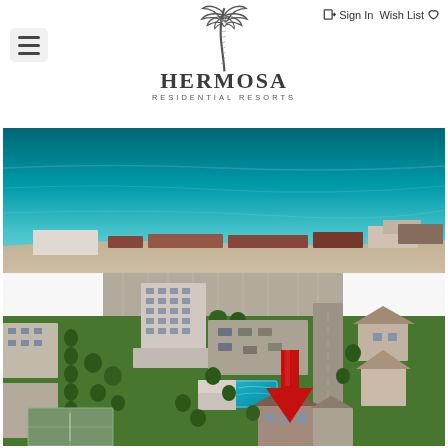Hermosa Residential Resorts — Sign In | Wish List
[Figure (photo): Aerial view of Hermosa Residential Resorts beach property near Gulf of Mexico. Shows a large high-rise tower hotel, surrounding smaller residential buildings, green trees, parking lots, a swimming pool (turquoise), tennis courts, and a large red arrow pointing downward to a specific property/house. The Gulf of Mexico and sandy beach are visible in the background.]